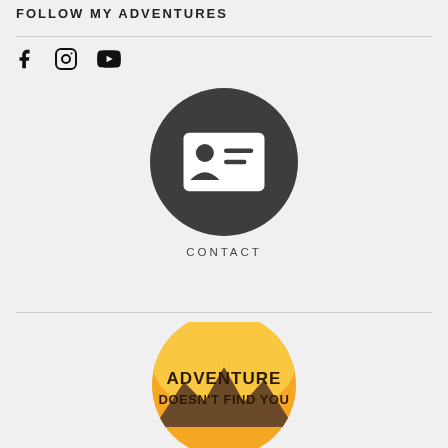FOLLOW MY ADVENTURES
[Figure (illustration): Three social media icons: Facebook (f), Instagram (camera), YouTube (play button) in black]
[Figure (illustration): Dark gray circle with white contact/ID card icon showing a person silhouette and lines]
CONTACT
[Figure (logo): Circular logo with orange/yellow gradient background and mountain silhouette, text reads 'ADVENTURE DOESN'T FIND YOU']